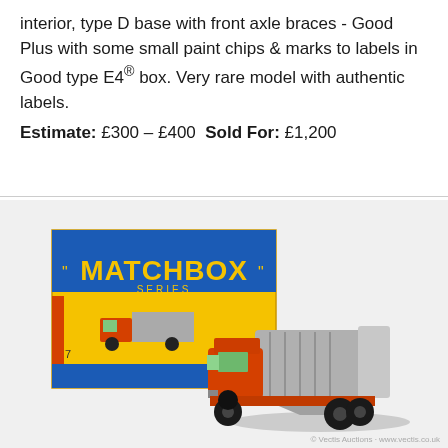interior, type D base with front axle braces - Good Plus with some small paint chips & marks to labels in Good type E4® box. Very rare model with authentic labels.
Estimate: £300 – £400 Sold For: £1,200
[Figure (photo): Photograph of a Matchbox Series No. 7 die-cast toy truck (orange cab with grey refuse body) displayed in front of its original yellow and blue Matchbox Series box.]